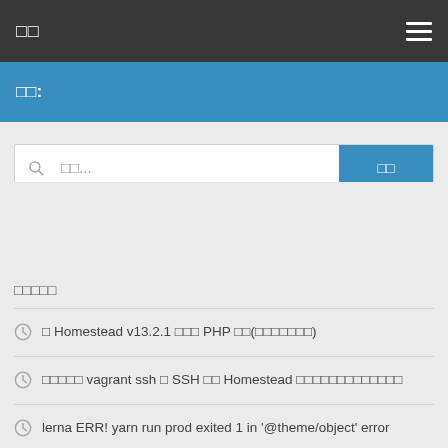□□
□□:
□□...  □□
□□□□□
□ Homestead v13.2.1 □□□ PHP □□(□□□□□□□)
□□□□□ vagrant ssh □ SSH □□ Homestead □□□□□□□□□□□□□
lerna ERR! yarn run prod exited 1 in '@theme/object' error